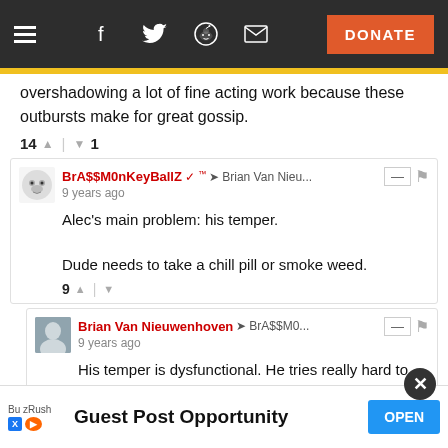Navigation bar with hamburger menu, social icons (Facebook, Twitter, Reddit, Email), and DONATE button
overshadowing a lot of fine acting work because these outbursts make for great gossip.
14 ^ | v 1
BrA$$M0nKeyBallZ ✓™ → Brian Van Nieu... 9 years ago
Alec's main problem: his temper.
Dude needs to take a chill pill or smoke weed.
9 ^ | v
Brian Van Nieuwenhoven → BrA$$M0... 9 years ago
His temper is dysfunctional. He tries really hard to restrain it. He fails every now and then. He's gotten better since his photographer-shoving days
w... ut then
Bu zRush
Guest Post Opportunity
OPEN